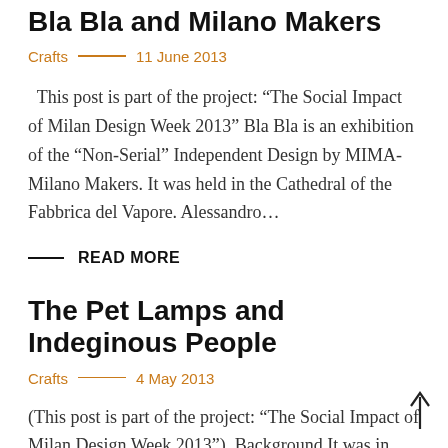Bla Bla and Milano Makers
Crafts — 11 June 2013
This post is part of the project: “The Social Impact of Milan Design Week 2013” Bla Bla is an exhibition of the “Non-Serial” Independent Design by MIMA-Milano Makers. It was held in the Cathedral of the Fabbrica del Vapore. Alessandro…
READ MORE
The Pet Lamps and Indeginous People
Crafts — 4 May 2013
(This post is part of the project: “The Social Impact of Milan Design Week 2013”). Background It was in summer